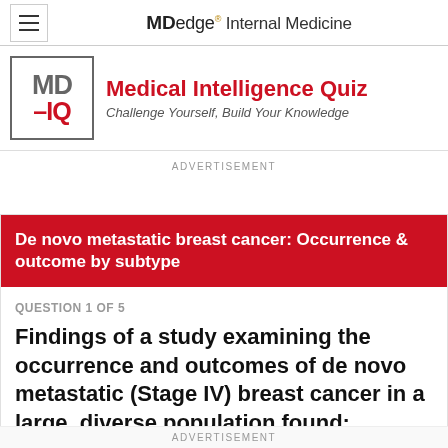MDedge® Internal Medicine
[Figure (logo): MD-IQ logo in a square border]
Medical Intelligence Quiz
Challenge Yourself, Build Your Knowledge
ADVERTISEMENT
De novo metastatic breast cancer: Occurrence & outcome by subtype
QUESTION 1 OF 5
Findings of a study examining the occurrence and outcomes of de novo metastatic (Stage IV) breast cancer in a large, diverse population found:
ADVERTISEMENT